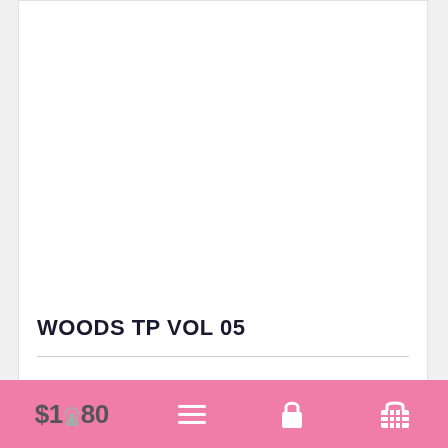[Figure (other): White product image area (blank/empty)]
WOODS TP VOL 05
$16.80
Navigation bar with price $16.80, menu, lock, and basket icons on pink background